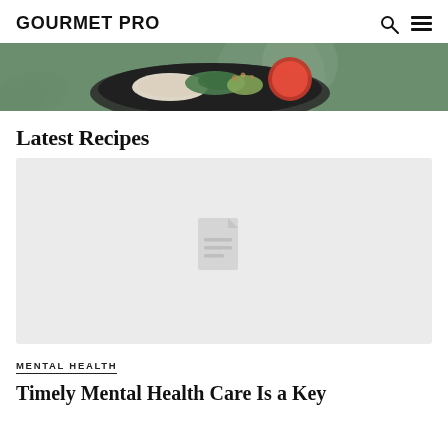GOURMET PRO
[Figure (photo): Top-down photo of a healthy food bowl with chicken, avocado, tomato, greens, and grains on a dark plate, with a green-toned background]
Latest Recipes
[Figure (other): Placeholder image area with a document/file icon in light gray]
MENTAL HEALTH
Timely Mental Health Care Is a Key